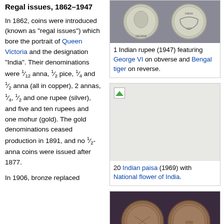[Figure (photo): 1 Indian rupee (1947) coin showing obverse with George VI portrait and reverse with Bengal tiger]
1 Indian rupee (1947) featuring George VI on obverse and Bengal tiger on reverse.
Regal issues, 1862–1947
In 1862, coins were introduced (known as "regal issues") which bore the portrait of Queen Victoria and the designation "India". Their denominations were 1/12 anna, 1/2 pice, 1/4 and 1/2 anna (all in copper), 2 annas, 1/4, 1/2 and one rupee (silver), and five and ten rupees and one mohur (gold). The gold denominations ceased production in 1891, and no 1/2-anna coins were issued after 1877.
[Figure (photo): 20 Indian paisa (1969) coin with National flower of India (image not loaded)]
20 Indian paisa (1969) with National flower of India.
[Figure (photo): Indian one pice coin minted in 1950, showing two views on dark purple background]
Indian one pice, minted in 1950
In 1906, bronze replaced